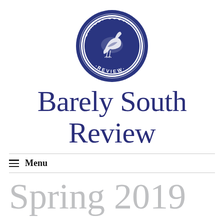[Figure (logo): Barely South Review circular logo in navy blue with a heron/bird illustration and text reading BARELY SOUTH REVIEW around the border]
Barely South Review
Menu
Spring 2019